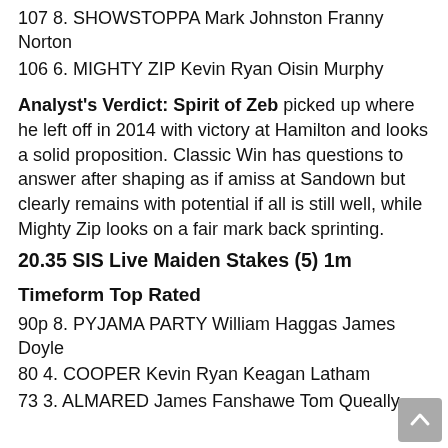107 8. SHOWSTOPPA Mark Johnston Franny Norton
106 6. MIGHTY ZIP Kevin Ryan Oisin Murphy
Analyst's Verdict: Spirit of Zeb picked up where he left off in 2014 with victory at Hamilton and looks a solid proposition. Classic Win has questions to answer after shaping as if amiss at Sandown but clearly remains with potential if all is still well, while Mighty Zip looks on a fair mark back sprinting.
20.35 SIS Live Maiden Stakes (5) 1m
Timeform Top Rated
90p 8. PYJAMA PARTY William Haggas James Doyle
80 4. COOPER Kevin Ryan Keagan Latham
73 3. ALMARED James Fanshawe Tom Queally